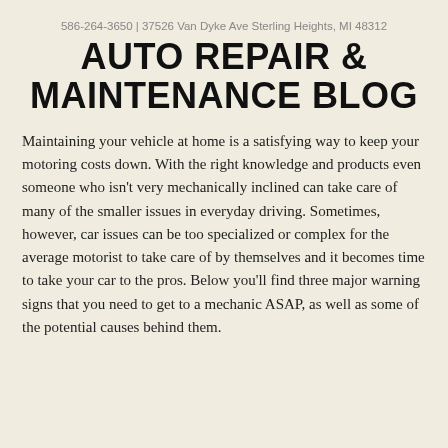586-264-3650 | 37526 Van Dyke Ave Sterling Heights, MI 48312
AUTO REPAIR & MAINTENANCE BLOG
Maintaining your vehicle at home is a satisfying way to keep your motoring costs down. With the right knowledge and products even someone who isn't very mechanically inclined can take care of many of the smaller issues in everyday driving. Sometimes, however, car issues can be too specialized or complex for the average motorist to take care of by themselves and it becomes time to take your car to the pros. Below you'll find three major warning signs that you need to get to a mechanic ASAP, as well as some of the potential causes behind them.